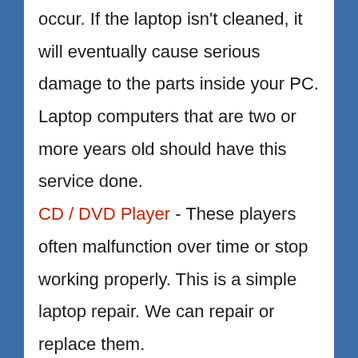occur. If the laptop isn't cleaned, it will eventually cause serious damage to the parts inside your PC. Laptop computers that are two or more years old should have this service done.
CD / DVD Player - These players often malfunction over time or stop working properly. This is a simple laptop repair. We can repair or replace them.
Wireless Card - You may need this laptop repair if your wireless card is no longer recognized or you can no longer